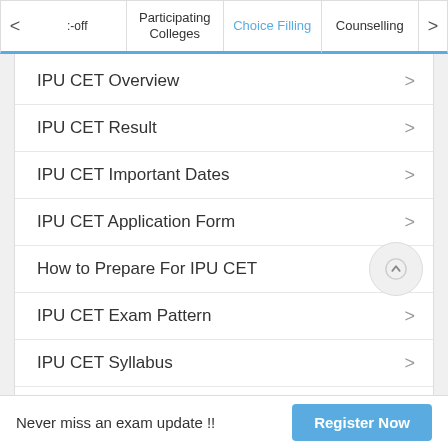:- off | Participating Colleges | Choice Filling | Counselling
IPU CET Overview
IPU CET Result
IPU CET Important Dates
IPU CET Application Form
How to Prepare For IPU CET
IPU CET Exam Pattern
IPU CET Syllabus
Best Books For IPU CET
IPU CET Eligibility
Never miss an exam update !!    Register Now